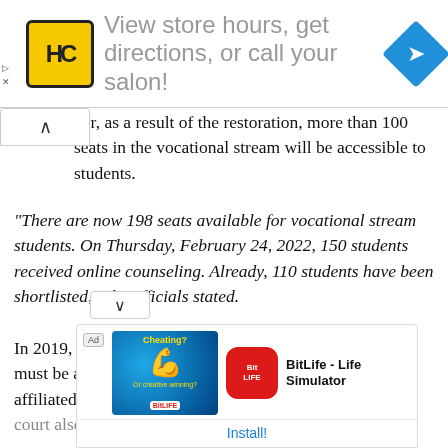[Figure (other): Top advertisement banner for Hair Club (HC) showing logo, text 'View store hours, get directions, or call your salon!' and navigation diamond icon]
ver, as a result of the restoration, more than 100 seats in the vocational stream will be accessible to students.
"There are now 198 seats available for vocational stream students. On Thursday, February 24, 2022, 150 students received online counseling. Already, 110 students have been shortlisted, “the officials stated.
In 2019, the Madras High Court ruled that the 5% quota must be applied to both constituent colleges and the affiliated private colleges throughout Tamil Nadu. The court also proposed that students...
[Figure (other): Bottom advertisement overlay for BitLife - Life Simulator app showing game image and Install button]